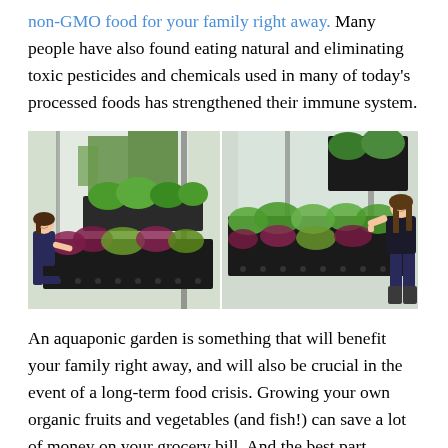non-GMO food for your family right away. Many people have also found eating natural and eliminating toxic pesticides and chemicals used in many of today's processed foods has strengthened their immune system.
[Figure (photo): Two side-by-side photos of a young girl in a greenhouse/aquaponic garden setting with large trays of leafy green vegetables. Left photo shows girl kneeling beside plant trays; right photo shows girl standing and tending to the plants.]
An aquaponic garden is something that will benefit your family right away, and will also be crucial in the event of a long-term food crisis. Growing your own organic fruits and vegetables (and fish!) can save a lot of money on your grocery bill. And the best part, besides the fresh taste, is